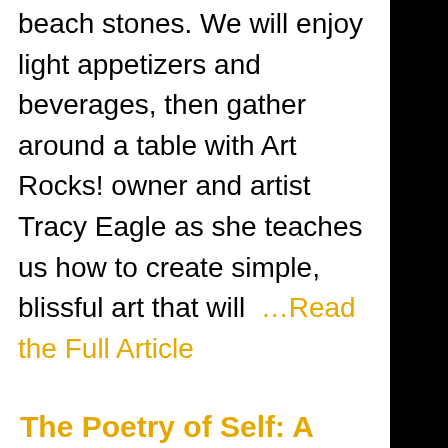beach stones. We will enjoy light appetizers and beverages, then gather around a table with Art Rocks! owner and artist Tracy Eagle as she teaches us how to create simple, blissful art that will  …Read the Full Article
The Poetry of Self: A Women's Wine/Poetry & Meditation Evening
Posted on in Community Events Seven Stones
[Figure (photo): A surreal image of a woman's face made of green grass and foliage blending with a blue sky background. Text overlay reads 'Let Yourself Become Living Poetry — Rumi']